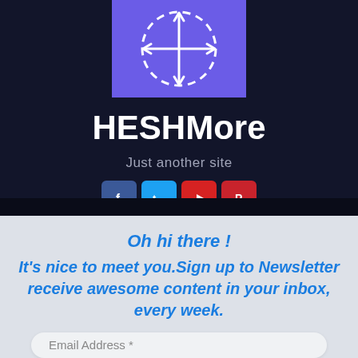[Figure (logo): Purple square logo with a white move/drag icon (cross with arrows) inside a dashed circle]
HESHMore
Just another site
[Figure (infographic): Row of four social media icon buttons: Facebook (blue), Twitter (light blue), YouTube (red), Pinterest (red)]
Oh hi there !
It's nice to meet you.Sign up to Newsletter receive awesome content in your inbox, every week.
Email Address *